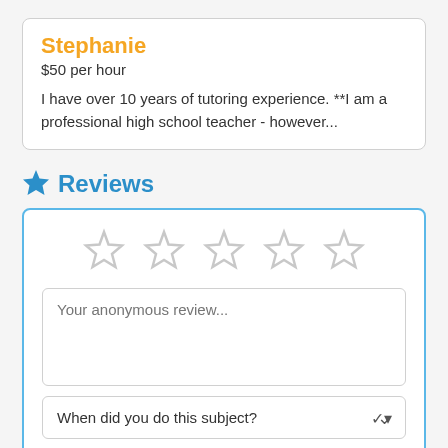Stephanie
$50 per hour
I have over 10 years of tutoring experience. **I am a professional high school teacher - however...
Reviews
[Figure (other): Five empty star rating icons in a row for user rating input]
Your anonymous review...
When did you do this subject?
Save